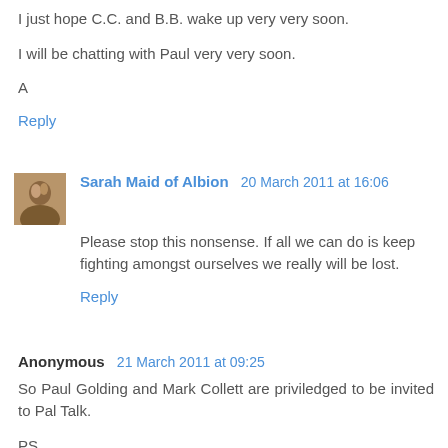I just hope C.C. and B.B. wake up very very soon.
I will be chatting with Paul very very soon.
A
Reply
Sarah Maid of Albion  20 March 2011 at 16:06
Please stop this nonsense. If all we can do is keep fighting amongst ourselves we really will be lost.
Reply
Anonymous  21 March 2011 at 09:25
So Paul Golding and Mark Collett are priviledged to be invited to Pal Talk.
PS